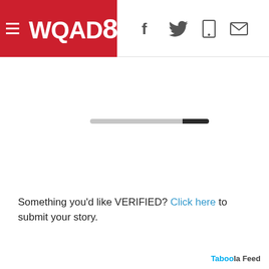WQAD8
[Figure (other): Loading progress bar — light gray bar with dark black segment at right end]
Something you'd like VERIFIED? Click here to submit your story.
Taboola Feed